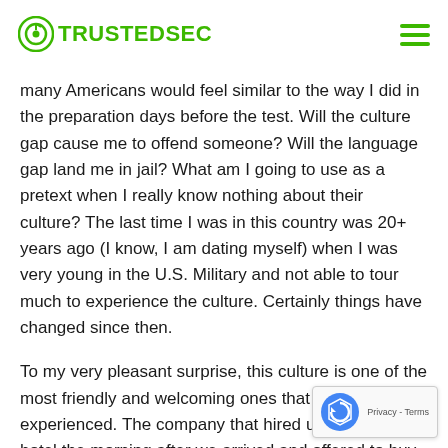TrustedSec
many Americans would feel similar to the way I did in the preparation days before the test. Will the culture gap cause me to offend someone? Will the language gap land me in jail? What am I going to use as a pretext when I really know nothing about their culture? The last time I was in this country was 20+ years ago (I know, I am dating myself) when I was very young in the U.S. Military and not able to tour much to experience the culture. Certainly things have changed since then.
To my very pleasant surprise, this culture is one of the most friendly and welcoming ones that I have ever experienced. The company that hired us came to our hotel the morning after we arrived and offered to buy us refreshments; we should be buying